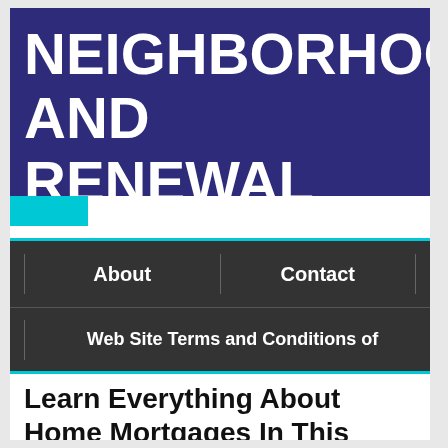NEIGHBORHOODS AND RENEWAL
About | Contact | Web Site Terms and Conditions of
Learn Everything About Home Mortgages In This Article